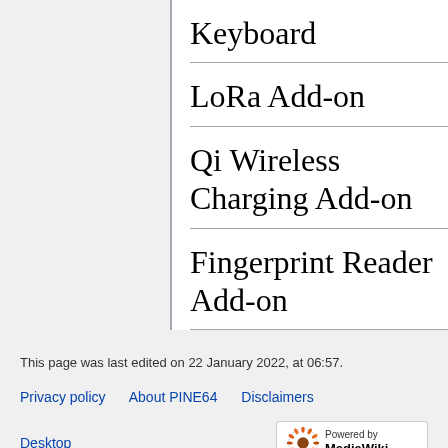Keyboard
LoRa Add-on
Qi Wireless Charging Add-on
Fingerprint Reader Add-on
This page was last edited on 22 January 2022, at 06:57.
Privacy policy   About PINE64   Disclaimers
Desktop